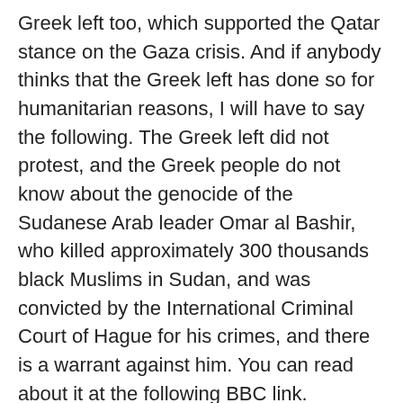Greek left too, which supported the Qatar stance on the Gaza crisis. And if anybody thinks that the Greek left has done so for humanitarian reasons, I will have to say the following. The Greek left did not protest, and the Greek people do not know about the genocide of the Sudanese Arab leader Omar al Bashir, who killed approximately 300 thousands black Muslims in Sudan, and was convicted by the International Criminal Court of Hague for his crimes, and there is a warrant against him. You can read about it at the following BBC link.
http://news.bbc.co.uk/2/hi/africa/3496731.stm
At the following link you can read about the Arab